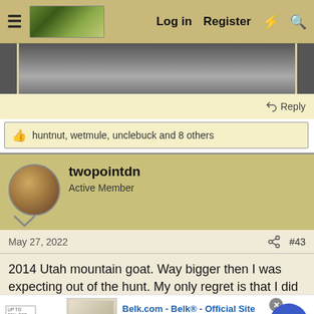Log in  Register
[Figure (photo): Partial view of a forum post image showing an animal (likely a mountain goat), cropped at top]
Reply
huntnut, wetmule, unclebuck and 8 others
twopointdn
Active Member
May 27, 2022   #43
2014 Utah mountain goat. Way bigger then I was expecting out of the hunt. My only regret is that I did not kill him with my
[Figure (screenshot): Advertisement for Belk.com - Belk® - Official Site. Shop for clothing, handbags, jewelry, beauty, home & more! www.belk.com]